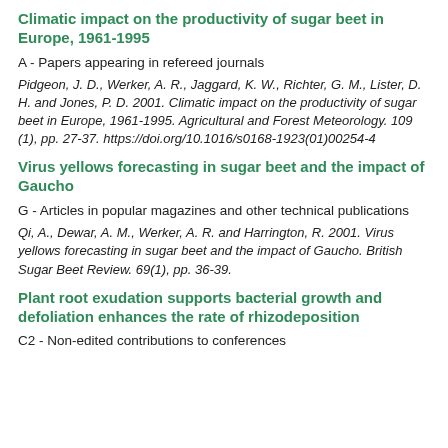Climatic impact on the productivity of sugar beet in Europe, 1961-1995
A - Papers appearing in refereed journals
Pidgeon, J. D., Werker, A. R., Jaggard, K. W., Richter, G. M., Lister, D. H. and Jones, P. D. 2001. Climatic impact on the productivity of sugar beet in Europe, 1961-1995. Agricultural and Forest Meteorology. 109 (1), pp. 27-37. https://doi.org/10.1016/s0168-1923(01)00254-4
Virus yellows forecasting in sugar beet and the impact of Gaucho
G - Articles in popular magazines and other technical publications
Qi, A., Dewar, A. M., Werker, A. R. and Harrington, R. 2001. Virus yellows forecasting in sugar beet and the impact of Gaucho. British Sugar Beet Review. 69(1), pp. 36-39.
Plant root exudation supports bacterial growth and defoliation enhances the rate of rhizodeposition
C2 - Non-edited contributions to conferences